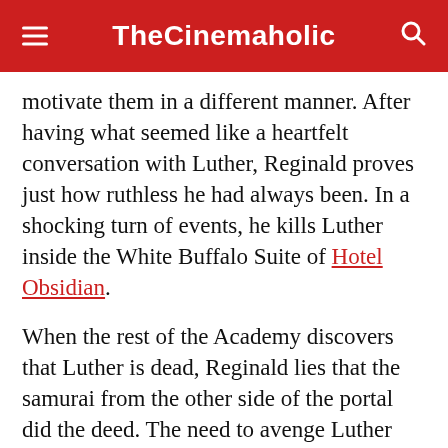TheCinemaholic
motivate them in a different manner. After having what seemed like a heartfelt conversation with Luther, Reginald proves just how ruthless he had always been. In a shocking turn of events, he kills Luther inside the White Buffalo Suite of Hotel Obsidian.
When the rest of the Academy discovers that Luther is dead, Reginald lies that the samurai from the other side of the portal did the deed. The need to avenge Luther spurs others into action and they decide to enter the portal. However, just before Hargreeves